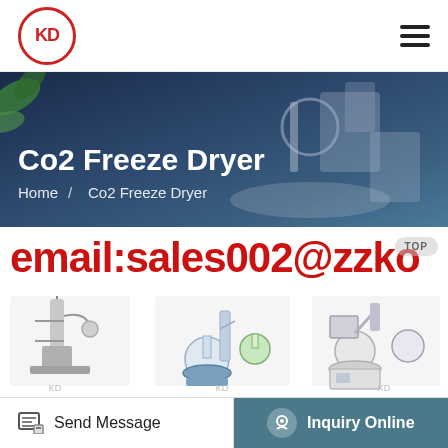KD logo and hamburger menu navigation
[Figure (screenshot): Hero banner showing lab equipment with blue gradient background, green leaves on left, title Co2 Freeze Dryer and breadcrumb Home / Co2 Freeze Dryer]
Co2 Freeze Dryer
Home / Co2 Freeze Dryer
email:sales002@zzko
[Figure (photo): Three laboratory equipment product images: BHO Extractor, SPD2L Short Path Distillation, RE5299 Rotary Evaporator]
BHO Extract...SPD2L Short...RE5299 Rot...
Send Message
Inquiry Online